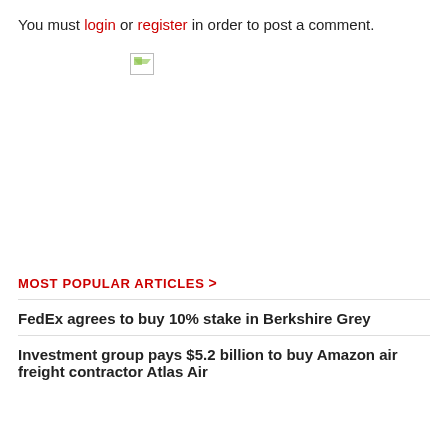You must login or register in order to post a comment.
[Figure (other): Broken/unloaded image placeholder icon with green graphic fragment]
MOST POPULAR ARTICLES >
FedEx agrees to buy 10% stake in Berkshire Grey
Investment group pays $5.2 billion to buy Amazon air freight contractor Atlas Air